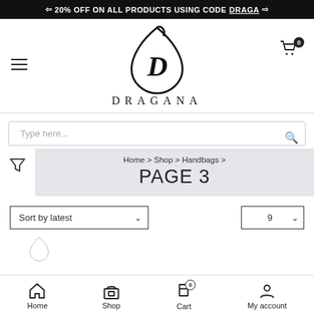20% OFF ON ALL PRODUCTS USING CODE DRAGA
[Figure (logo): Dragana brand logo — stylized D letter inside a teardrop shape with DRAGANA text below]
Type here...
Home > Shop > Handbags >
PAGE 3
Sort by latest
9
Home  Shop  Cart  My account